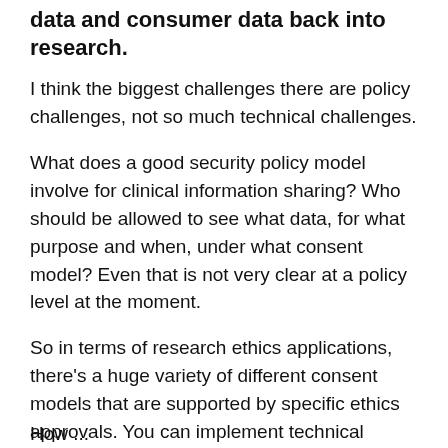data and consumer data back into research.
I think the biggest challenges there are policy challenges, not so much technical challenges.
What does a good security policy model involve for clinical information sharing? Who should be allowed to see what data, for what purpose and when, under what consent model? Even that is not very clear at a policy level at the moment.
So in terms of research ethics applications, there’s a huge variety of different consent models that are supported by specific ethics approvals. You can implement technical controls for any of those, but knowing what you should be implementing is, I think, the hardest part of the challenge. There’s a lot of variability, especially for clinical information.
How ...